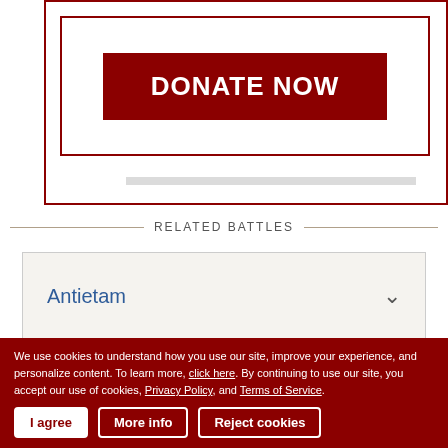[Figure (other): Donate Now button inside a double-bordered red frame box]
RELATED BATTLES
Antietam
Harpers Ferry
We use cookies to understand how you use our site, improve your experience, and personalize content. To learn more, click here. By continuing to use our site, you accept our use of cookies, Privacy Policy, and Terms of Service.
I agree | More info | Reject cookies